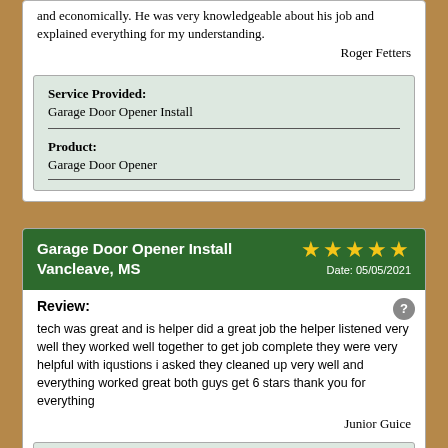and economically. He was very knowledgeable about his job and explained everything for my understanding.
Roger Fetters
| Service Provided: | Garage Door Opener Install |
| Product: | Garage Door Opener |
Garage Door Opener Install Vancleave, MS ★★★★★ Date: 05/05/2021
Review:
tech was great and is helper did a great job the helper listened very well they worked well together to get job complete they were very helpful with iqustions i asked they cleaned up very well and everything worked great both guys get 6 stars thank you for everything
Junior Guice
Service Provided: